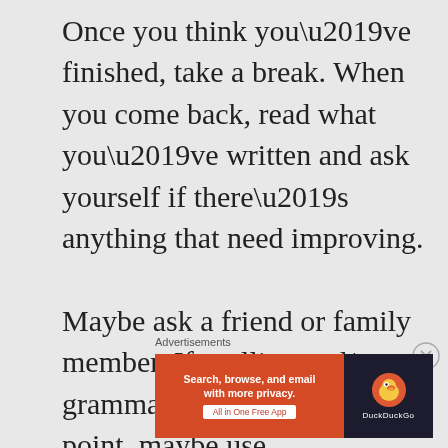Once you think you’ve finished, take a break. When you come back, read what you’ve written and ask yourself if there’s anything that need improving.

Maybe ask a friend or family member. If spelling and/or grammar is not your strong point, maybe use
Advertisements
[Figure (screenshot): DuckDuckGo advertisement banner with orange left panel reading 'Search, browse, and email with more privacy. All in One Free App' and dark right panel with DuckDuckGo logo and duck icon.]